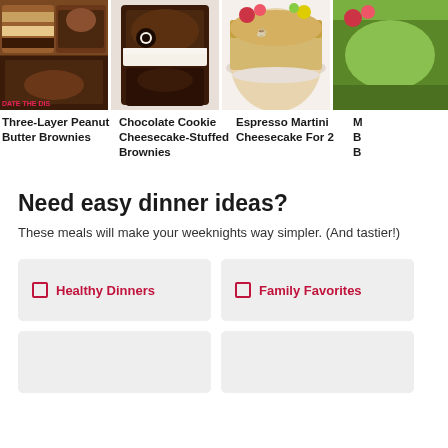[Figure (photo): Three-Layer Peanut Butter Brownies - food photo showing layered brownies and a jar]
Three-Layer Peanut Butter Brownies
[Figure (photo): Chocolate Cookie Cheesecake-Stuffed Brownies - food photo showing brownie with oreo]
Chocolate Cookie Cheesecake-Stuffed Brownies
[Figure (photo): Espresso Martini Cheesecake For 2 - food photo showing cheesecake]
Espresso Martini Cheesecake For 2
[Figure (photo): Partial fourth recipe card - cropped]
M... B... B...
Need easy dinner ideas?
These meals will make your weeknights way simpler. (And tastier!)
Healthy Dinners
Family Favorites